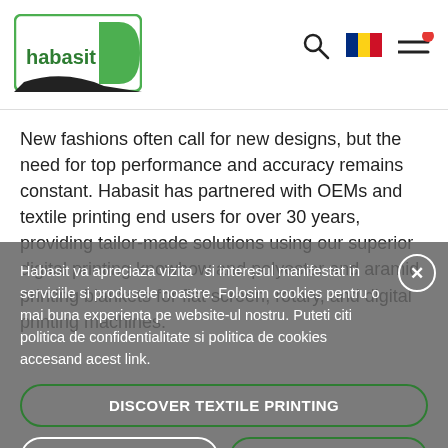[Figure (logo): Habasit logo — green rectangle border with white interior, green 'habasit' text, and a green leaf/swoosh shape on the right]
New fashions often call for new designs, but the need for top performance and accuracy remains constant. Habasit has partnered with OEMs and textile printing end users for over 30 years, providing tailor-made solutions using our superior digital printing knowhow and polyester and aramid printing blankets for flat screen, rotary, and digital printing machines.
Habasit va apreciaza vizita  si interesul manifestat in serviciile si produsele noastre. Folosim cookies pentru o mai buna experienta pe website-ul nostru. Puteti citi politica de confidentialitate si politica de cookies accesand acest link.
DISCOVER TEXTILE PRINTING
AFLĂ MAI MULTE
CONFIRMĂ